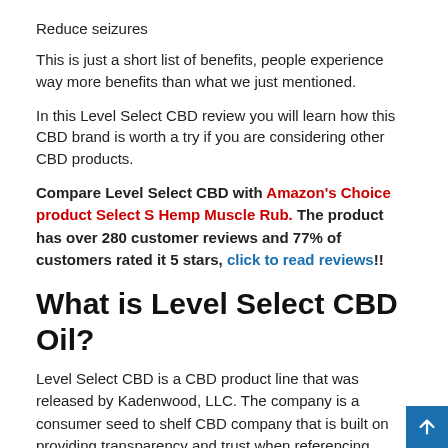Reduce seizures
This is just a short list of benefits, people experience way more benefits than what we just mentioned.
In this Level Select CBD review you will learn how this CBD brand is worth a try if you are considering other CBD products.
Compare Level Select CBD with Amazon's Choice product Select S Hemp Muscle Rub.  The product has over 280 customer reviews and 77% of customers rated it 5 stars, click to read reviews!!
What is Level Select CBD Oil?
Level Select CBD is a CBD product line that was released by Kadenwood, LLC.  The company is a consumer seed to shelf CBD company that is built on providing transparency and trust when referencing wellness.